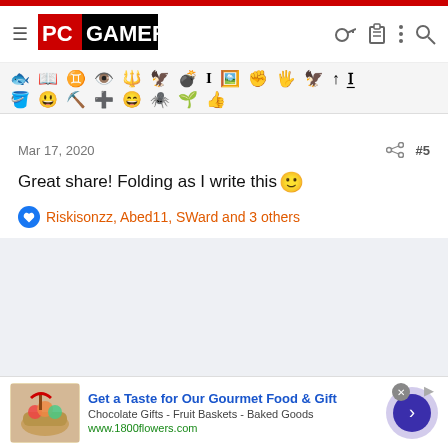[Figure (logo): PC Gamer logo — red block with white 'PC' and black 'GAMER' text]
[Figure (other): Toolbar row of game class / emoji icons in two rows]
Mar 17, 2020
#5
Great share! Folding as I write this 🙂
Riskisonzz, Abed11, SWard and 3 others
[Figure (screenshot): Advertisement banner: Get a Taste for Our Gourmet Food & Gift — Chocolate Gifts - Fruit Baskets - Baked Goods — www.1800flowers.com]